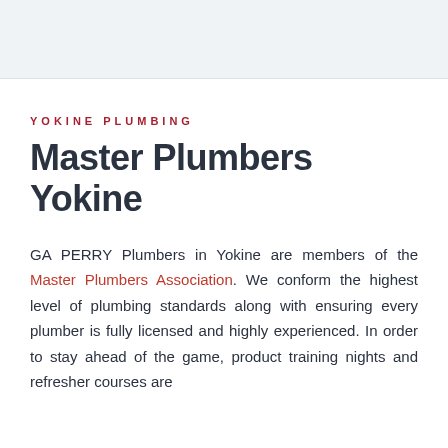YOKINE PLUMBING
Master Plumbers Yokine
GA PERRY Plumbers in Yokine are members of the Master Plumbers Association. We conform the highest level of plumbing standards along with ensuring every plumber is fully licensed and highly experienced. In order to stay ahead of the game, product training nights and refresher courses are